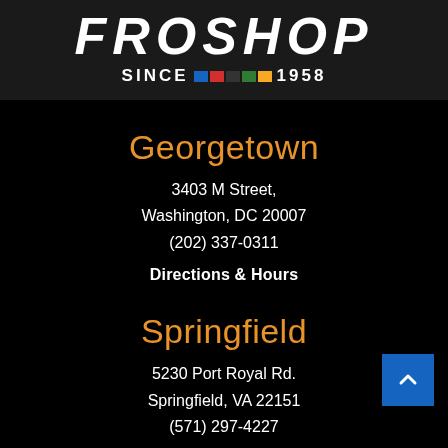[Figure (logo): Froshop logo with text partially cropped at top, italic bold white letters, with 'SINCE [color blocks] 1958' subtitle]
Georgetown
3403 M Street,
Washington, DC 20007
(202) 337-0311
Directions & Hours
Springfield
5230 Port Royal Rd.
Springfield, VA 22151
(571) 297-4227